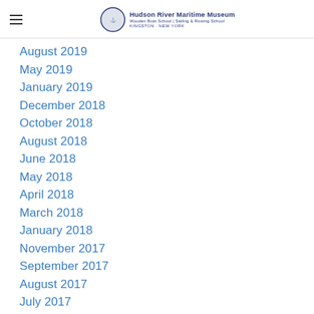Hudson River Maritime Museum | Wooden Boat School | Sailing & Rowing School | Kingston, New York
August 2019
May 2019
January 2019
December 2018
October 2018
August 2018
June 2018
May 2018
April 2018
March 2018
January 2018
November 2017
September 2017
August 2017
July 2017
June 2017
May 2017
February 2017